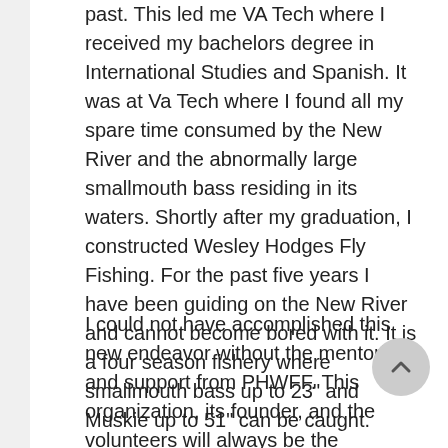past. This led me VA Tech where I received my bachelors degree in International Studies and Spanish. It was at Va Tech where I found all my spare time consumed by the New River and the abnormally large smallmouth bass residing in its waters. Shortly after my graduation, I constructed Wesley Hodges Fly Fishing. For the past five years I have been guiding on the New River and cannot become bored with it. It is a four season fishery where smallmouth bass up to 23" and Muskie up to 51" can be caught.
I could not have accomplished this new endeavor without the mentoring and support from PHWFF. This organization, its founder, and the volunteers will always be the example that I will strive to follow when providing my services to the fly-fishing